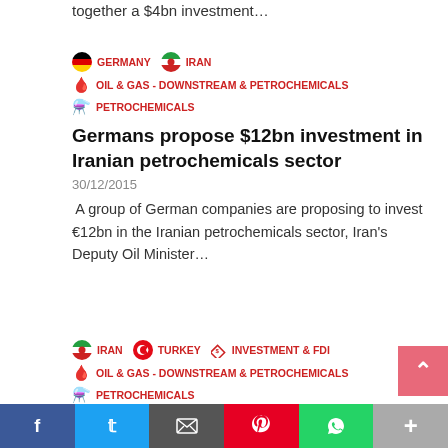together a $4bn investment…
GERMANY  IRAN  OIL & GAS - DOWNSTREAM & PETROCHEMICALS  PETROCHEMICALS
Germans propose $12bn investment in Iranian petrochemicals sector
30/12/2015
A group of German companies are proposing to invest €12bn in the Iranian petrochemicals sector, Iran's Deputy Oil Minister…
IRAN  TURKEY  INVESTMENT & FDI  OIL & GAS - DOWNSTREAM & PETROCHEMICALS  PETROCHEMICALS